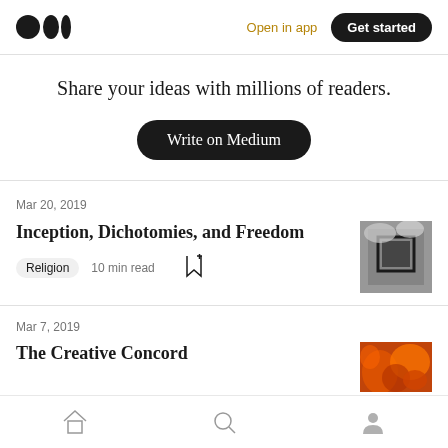Medium logo | Open in app | Get started
Share your ideas with millions of readers.
Write on Medium
Mar 20, 2019
Inception, Dichotomies, and Freedom
Religion  10 min read
[Figure (photo): Thumbnail image showing dark cloudy sky with geometric square overlay]
Mar 7, 2019
The Creative Concord
[Figure (photo): Thumbnail image showing orange fiery or floral texture]
Home | Search | Profile navigation icons